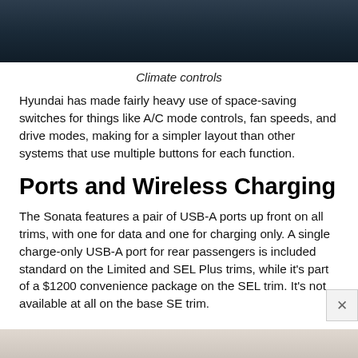[Figure (photo): Dark interior shot of car climate control panel]
Climate controls
Hyundai has made fairly heavy use of space-saving switches for things like A/C mode controls, fan speeds, and drive modes, making for a simpler layout than other systems that use multiple buttons for each function.
Ports and Wireless Charging
The Sonata features a pair of USB-A ports up front on all trims, with one for data and one for charging only. A single charge-only USB-A port for rear passengers is included standard on the Limited and SEL Plus trims, while it's part of a $1200 convenience package on the SEL trim. It's not available at all on the base SE trim.
[Figure (photo): Bottom partial image of car interior]